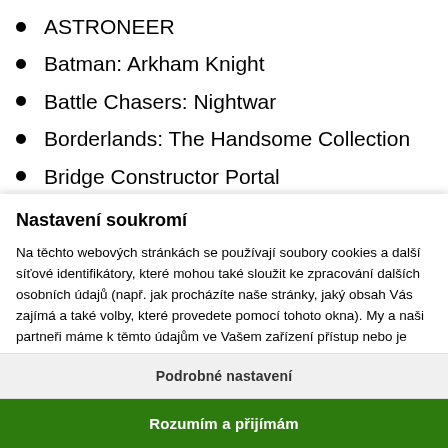ASTRONEER
Batman: Arkham Knight
Battle Chasers: Nightwar
Borderlands: The Handsome Collection
Bridge Constructor Portal
Nastavení soukromí
Na těchto webových stránkách se používají soubory cookies a další síťové identifikátory, které mohou také sloužit ke zpracování dalších osobních údajů (např. jak procházíte naše stránky, jaký obsah Vás zajímá a také volby, které provedete pomocí tohoto okna). My a naši partneři máme k těmto údajům ve Vašem zařízení přístup nebo je ukládáme. Tyto údaje nám pomáhají provozovat a zlepšovat naše služby. Můžeme Vám také
Podrobné nastavení
Rozumím a přijímám